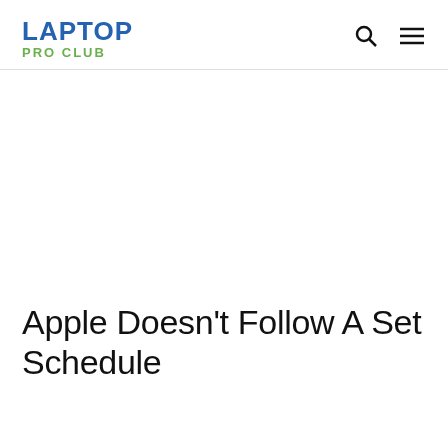LAPTOP PRO CLUB
Apple Doesn’t Follow A Set Schedule